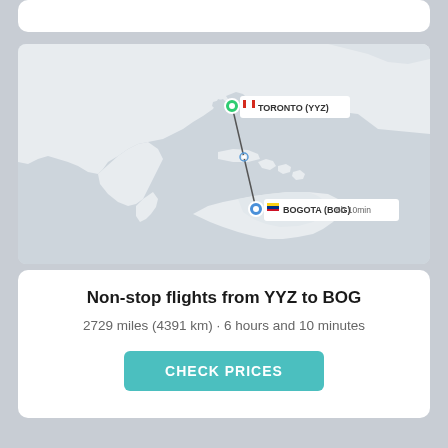[Figure (map): Map showing a non-stop flight route from Toronto (YYZ) in Canada to Bogota (BOG) in Colombia, with a straight line connecting the two cities. Toronto is marked with a green pin and a white tooltip label. Bogota is marked with a blue pin and a white tooltip label showing '6h 10min'.]
Non-stop flights from YYZ to BOG
2729 miles (4391 km) · 6 hours and 10 minutes
CHECK PRICES